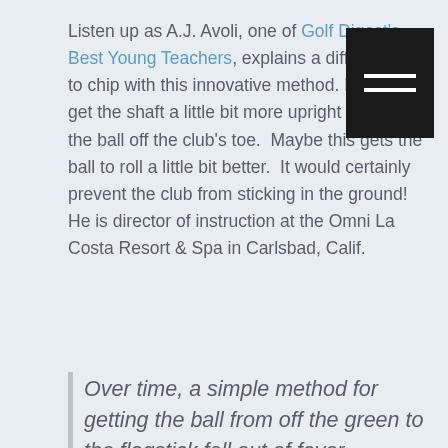Listen up as A.J. Avoli, one of Golf Digest's Best Young Teachers, explains a different way to chip with this innovative method. He likes to get the shaft a little bit more upright and hits the ball off the club's toe.  Maybe this gets the ball to roll a little bit better.  It would certainly prevent the club from sticking in the ground!  He is director of instruction at the Omni La Costa Resort & Spa in Carlsbad, Calif.
Over time, a simple method for getting the ball from off the green to the flagstick fell out of favor.
I rarely see anyone chip like the late Hall of Fame golfer Paul Runyan. That's a shame, because this technique will